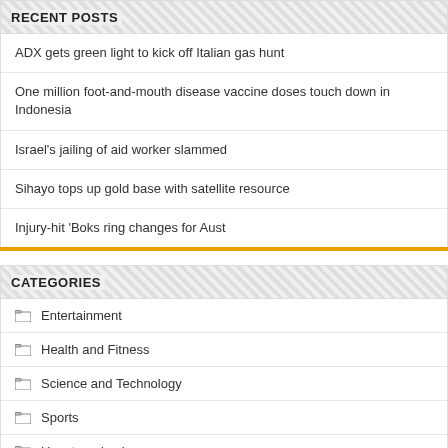RECENT POSTS
ADX gets green light to kick off Italian gas hunt
One million foot-and-mouth disease vaccine doses touch down in Indonesia
Israel's jailing of aid worker slammed
Sihayo tops up gold base with satellite resource
Injury-hit 'Boks ring changes for Aust
CATEGORIES
Entertainment
Health and Fitness
Science and Technology
Sports
Uncategorized